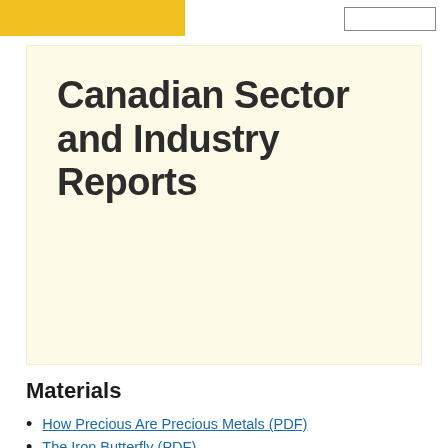Canadian Sector and Industry Reports
Canadian Sector and Industry Reports
Materials
How Precious Are Precious Metals (PDF)
The Iron Butterfly (PDF)